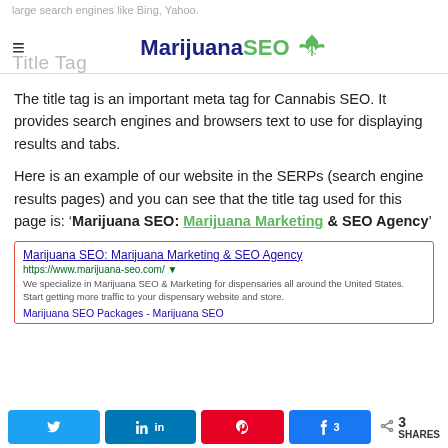large search engines like Bing, Yahoo.
[Figure (logo): MarijuanaSEO logo with dark blue 'Marijuana' text, green 'SEO' text, and a green cannabis leaf icon]
Title Tag
The title tag is an important meta tag for Cannabis SEO. It provides search engines and browsers text to use for displaying results and tabs.
Here is an example of our website in the SERPs (search engine results pages) and you can see that the title tag used for this page is: 'Marijuana SEO: Marijuana Marketing & SEO Agency'
[Figure (screenshot): SERP screenshot showing Marijuana SEO website listing with title 'Marijuana SEO: Marijuana Marketing & SEO Agency', URL https://www.marijuana-seo.com/, description text, and a sub-link 'Marijuana SEO Packages - Marijuana SEO'. The title is highlighted with a red border.]
Share buttons: Twitter, LinkedIn, Pinterest, Facebook (3 shares), Share (3 SHARES)